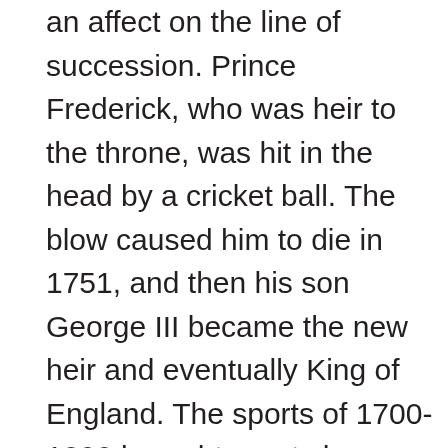an affect on the line of succession. Prince Frederick, who was heir to the throne, was hit in the head by a cricket ball. The blow caused him to die in 1751, and then his son George III became the new heir and eventually King of England. The sports of 1700-1800 brought great change from Tudor Times and evolved into today's sport in England.

Today's sports in England are not nearly as fierce as they were in the 1400's and 1700's, but they are still very competitive (Robert 1). There are now